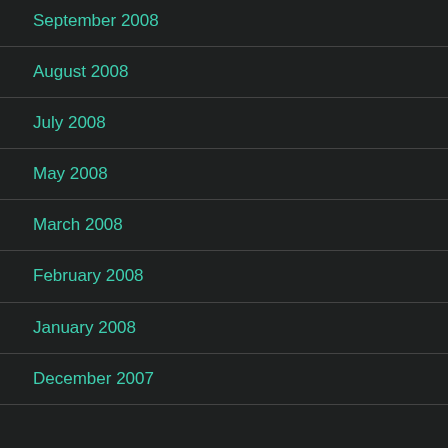September 2008
August 2008
July 2008
May 2008
March 2008
February 2008
January 2008
December 2007